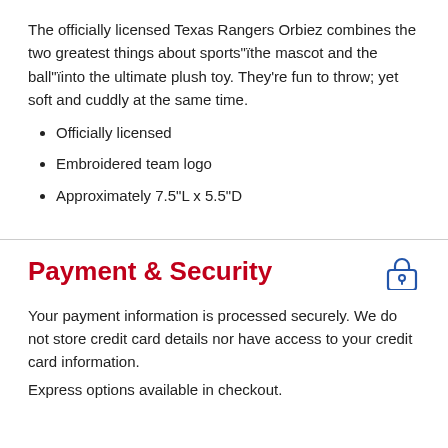The officially licensed Texas Rangers Orbiez combines the two greatest things about sports"ìthe mascot and the ball"ìinto the ultimate plush toy. They're fun to throw; yet soft and cuddly at the same time.
Officially licensed
Embroidered team logo
Approximately 7.5"L x 5.5"D
Payment & Security
Your payment information is processed securely. We do not store credit card details nor have access to your credit card information.
Express options available in checkout.